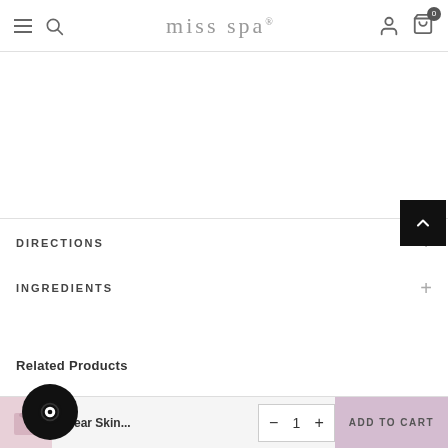miss spa
DIRECTIONS
INGREDIENTS
Related Products
[Figure (screenshot): Chat widget icon (circular dark button with speech bubble icon) overlaid on product thumbnail area]
Clear Skin... 1 ADD TO CART